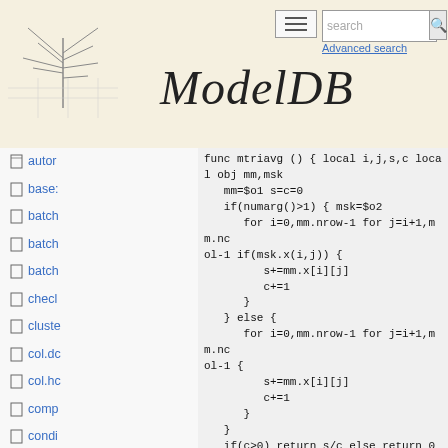ModelDB — Advanced search
autor
base:
batch
batch
batch
checl
cluste
col.dc
col.hc
comp
condi
condi
declis
decm (active)
decnc
func mtriavg () { local i,j,s,c local obj mm,msk
    mm=$o1 s=c=0
    if(numarg()>1) { msk=$o2
        for i=0,mm.nrow-1 for j=i+1,mm.ncol-1 if(msk.x(i,j)) {
            s+=mm.x[i][j]
            c+=1
        }
    } else {
        for i=0,mm.nrow-1 for j=i+1,mm.ncol-1 {
            s+=mm.x[i][j]
            c+=1
        }
    }
    if(c>0) return s/c else return 0
}

//** mltristd(mat,[mask]) - get stdev